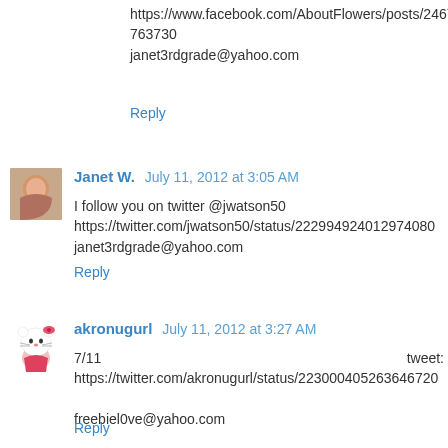https://www.facebook.com/AboutFlowers/posts/246732738763730
janet3rdgrade@yahoo.com
Reply
Janet W.  July 11, 2012 at 3:05 AM
I follow you on twitter @jwatson50
https://twitter.com/jwatson50/status/222994924012974080
janet3rdgrade@yahoo.com
Reply
akronugurl  July 11, 2012 at 3:27 AM
7/11
tweet:
https://twitter.com/akronugurl/status/223000405263646720

freebiel0ve@yahoo.com
Reply